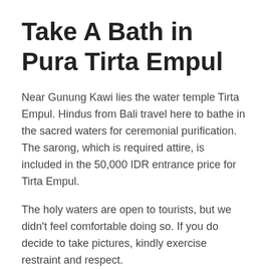Take A Bath in Pura Tirta Empul
Near Gunung Kawi lies the water temple Tirta Empul. Hindus from Bali travel here to bathe in the sacred waters for ceremonial purification. The sarong, which is required attire, is included in the 50,000 IDR entrance price for Tirta Empul.
The holy waters are open to tourists, but we didn't feel comfortable doing so. If you do decide to take pictures, kindly exercise restraint and respect.
Taste the Gourmet Meal Once in A While